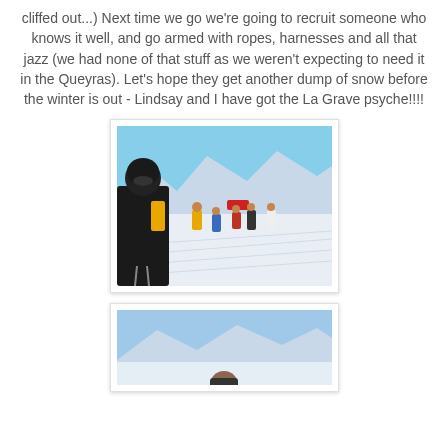cliffed out...) Next time we go we're going to recruit someone who knows it well, and go armed with ropes, harnesses and all that jazz (we had none of that stuff as we weren't expecting to need it in the Queyras). Let's hope they get another dump of snow before the winter is out - Lindsay and I have got the La Grave psyche!!!!
[Figure (photo): Skiers and snowboarders gathered on a snowy mountain slope on a sunny day, with mountain peaks and blue sky in the background. A person in dark ski gear and helmet is in the foreground on the left.]
[Figure (photo): Partial view of a snowy mountain landscape with peaks visible under a blue sky, and a person's head visible at the bottom of the frame.]